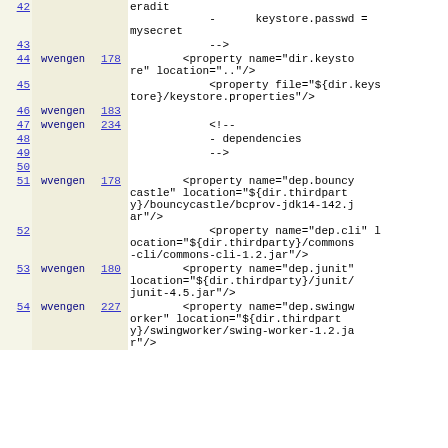| line | author | rev | code |
| --- | --- | --- | --- |
| 42 |  |  | eradit
            -      keystore.passwd = mysecret |
| 43 |  |  | --> |
| 44 | wvengen | 178 | <property name="dir.keystore" location=".."/> |
| 45 |  |  | <property file="${dir.keystore}/keystore.properties"/> |
| 46 | wvengen | 183 |  |
| 47 | wvengen | 234 | <!-- |
| 48 |  |  |     - dependencies |
| 49 |  |  | --> |
| 50 |  |  |  |
| 51 | wvengen | 178 | <property name="dep.bouncycastle" location="${dir.thirdparty}/bouncycastle/bcprov-jdk14-142.jar"/> |
| 52 |  |  | <property name="dep.cli" location="${dir.thirdparty}/commons-cli/commons-cli-1.2.jar"/> |
| 53 | wvengen | 180 | <property name="dep.junit" location="${dir.thirdparty}/junit/junit-4.5.jar"/> |
| 54 | wvengen | 227 | <property name="dep.swingworker" location="${dir.thirdparty}/swingworker/swing-worker-1.2.jar"/> |